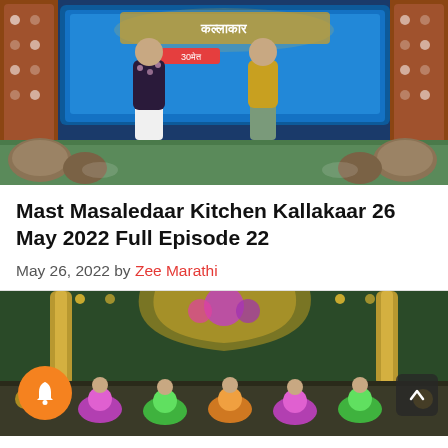[Figure (photo): TV show stage with two hosts standing on a decorated set with blue digital backdrop and warm-lit frame decorations]
Mast Masaledaar Kitchen Kallakaar 26 May 2022 Full Episode 22
May 26, 2022 by Zee Marathi
[Figure (photo): Dancers in colorful traditional costumes performing on a decorated TV show stage with golden decor and green curtains]